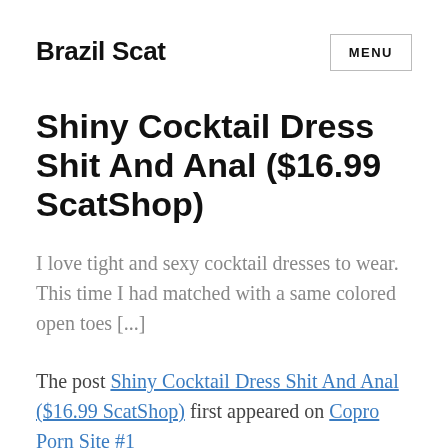Brazil Scat
Shiny Cocktail Dress Shit And Anal ($16.99 ScatShop)
I love tight and sexy cocktail dresses to wear. This time I had matched with a same colored open toes [...]
The post Shiny Cocktail Dress Shit And Anal ($16.99 ScatShop) first appeared on Copro Porn Site #1